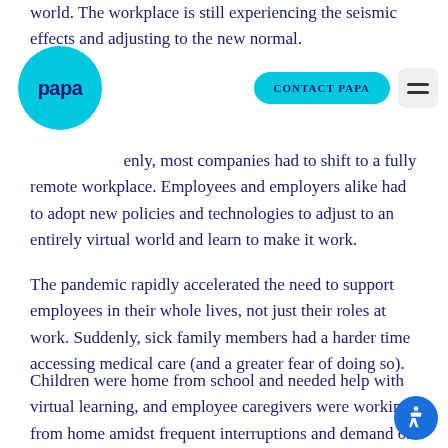world. The workplace is still experiencing the seismic effects and adjusting to the new normal.
[Figure (logo): Papa company logo — cyan/teal circle with 'papa' text in dark navy blue]
enly, most companies had to shift to a fully remote workplace. Employees and employers alike had to adopt new policies and technologies to adjust to an entirely virtual world and learn to make it work.
The pandemic rapidly accelerated the need to support employees in their whole lives, not just their roles at work. Suddenly, sick family members had a harder time accessing medical care (and a greater fear of doing so).
Children were home from school and needed help with virtual learning, and employee caregivers were working from home amidst frequent interruptions and demand on their time. In addition to putting